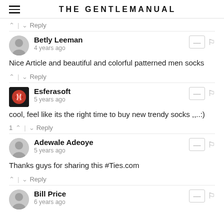THE GENTLEMANUAL
^ | v  Reply
Betly Leeman
4 years ago
Nice Article and beautiful and colorful patterned men socks
^ | v  Reply
Esferasoft
5 years ago
cool, feel like its the right time to buy new trendy socks ,,..:)
1 ^ | v  Reply
Adewale Adeoye
5 years ago
Thanks guys for sharing this #Ties.com
^ | v  Reply
Bill Price
6 years ago